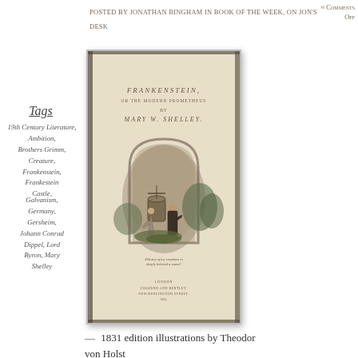Posted by Jonathan Bingham in Book of the Week, On Jon's Desk
≈ Comments Off
Tags
19th Century Literature,
Ambition,
Brothers Grimm,
Creature,
Frankenstein,
Frankestein Castle,
Galvanism,
Germany,
Gersheim,
Johann Conrad Dippel, Lord Byron, Mary Shelley
[Figure (photo): Photograph of the 1831 edition of Frankenstein by Mary W. Shelley, showing the title page with an engraved illustration of two figures near a well, by Theodor von Holst. Published by Colburn and Bentley, London, 1831.]
— 1831 edition illustrations by Theodor von Holst